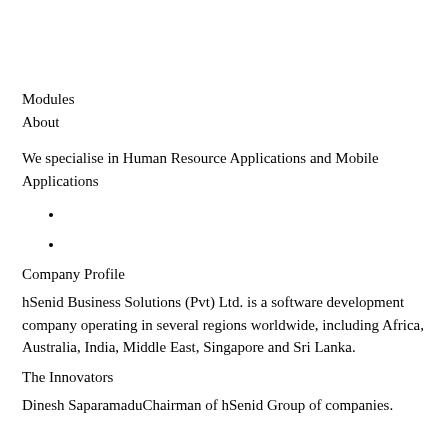Modules
About
We specialise in Human Resource Applications and Mobile Applications
Company Profile
hSenid Business Solutions (Pvt) Ltd. is a software development company operating in several regions worldwide, including Africa, Australia, India, Middle East, Singapore and Sri Lanka.
The Innovators
Dinesh SaparamaduChairman of hSenid Group of companies.